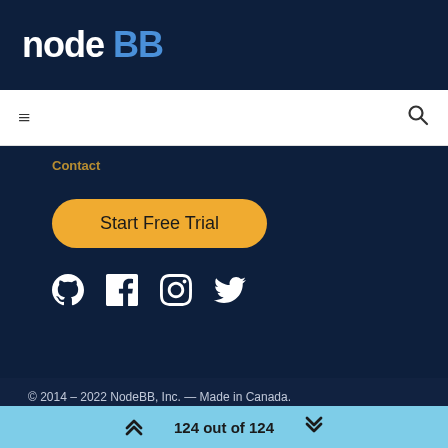[Figure (logo): NodeBB logo: 'node' in white bold sans-serif and 'BB' in blue bold sans-serif on dark navy background]
Navigation bar with hamburger menu icon and search icon
Start Free Trial
[Figure (illustration): Social media icons: GitHub, Facebook, Instagram, Twitter — white icons on dark navy background]
© 2014 – 2022 NodeBB, Inc. — Made in Canada.
Terms   Privacy   GDPR   DMCA   Contact
124 out of 124